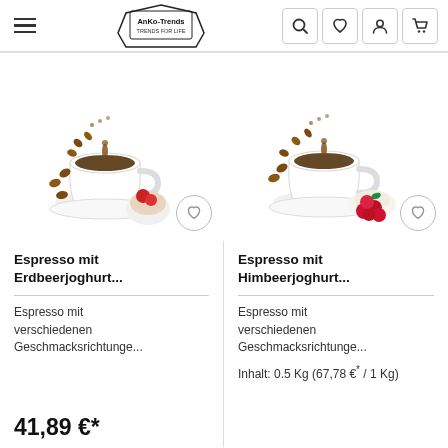AnKo-Trends TRENDS FOR LIFE — navigation header with hamburger menu, logo, search, wishlist, account, and cart icons
[Figure (photo): Product photo: coffee cup with splash and strawberry yogurt cake, with wishlist heart button]
Espresso mit Erdbeerjoghurt...
Espresso mit verschiedenen Geschmacksrichtunge...
41,89 €*
[Figure (photo): Product photo: coffee cup with splash and raspberries, with wishlist heart button]
Espresso mit Himbeerjoghurt...
Espresso mit verschiedenen Geschmacksrichtunge...
Inhalt: 0.5 Kg (67,78 €* / 1 Kg)